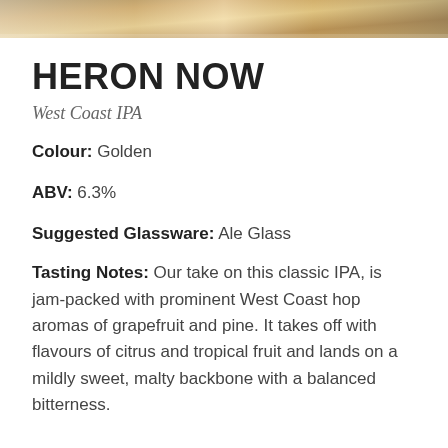[Figure (photo): Partial photo strip at top of page showing a beer/drink image, cropped]
HERON NOW
West Coast IPA
Colour: Golden
ABV: 6.3%
Suggested Glassware: Ale Glass
Tasting Notes: Our take on this classic IPA, is jam-packed with prominent West Coast hop aromas of grapefruit and pine. It takes off with flavours of citrus and tropical fruit and lands on a mildly sweet, malty backbone with a balanced bitterness.